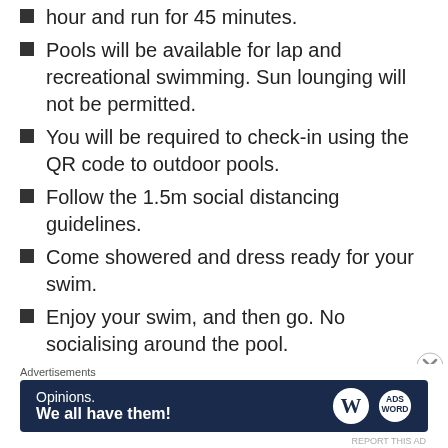hour and run for 45 minutes.
Pools will be available for lap and recreational swimming. Sun lounging will not be permitted.
You will be required to check-in using the QR code to outdoor pools.
Follow the 1.5m social distancing guidelines.
Come showered and dress ready for your swim.
Enjoy your swim, and then go. No socialising around the pool.
Wear a mask unless exercising.
Toilets will be open, but indoor change rooms and shower facilities will be closed.
Each pool has a maximum capacity, in line with the
Public Health Orders requirements and booking will
Advertisements
[Figure (other): Advertisement banner: Opinions. We all have them! with WordPress and another logo on dark navy background]